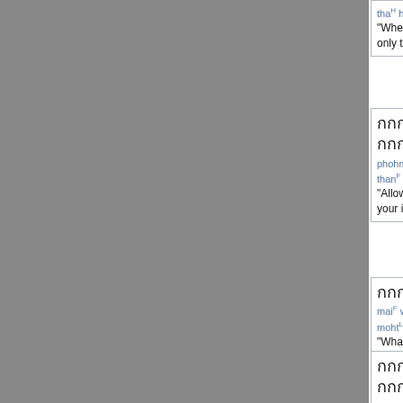thaH haanR reuuR nakH geeM laaM ... "When we speak of this ailme... only to military personnel or a...
Thai text block 2
phohm khaaw nam neuua haa than phuu aan dai rap saap b...
"Allow me to present the esse... your information."
Thai text block 3
maiF waaF thuuhrM jaL thamM aL- rai... mohtL
"Whatever she does will plea...
Thai text block 4
...
manM jeungM phuutF gapL nakH roh deernM thaaoH aawkL bpaiM rohpH...